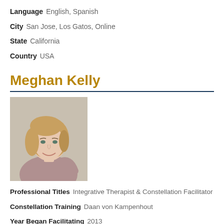Language  English, Spanish
City  San Jose, Los Gatos, Online
State  California
Country  USA
Meghan Kelly
[Figure (photo): Professional headshot of Meghan Kelly, a woman with blonde hair, smiling, wearing a patterned top, with arms crossed in front of her.]
Professional Titles  Integrative Therapist & Constellation Facilitator
Constellation Training  Daan von Kampenhout
Year Began Facilitating  2013